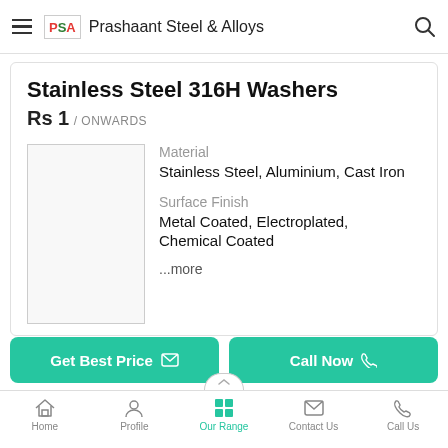Prashaant Steel & Alloys
Stainless Steel 316H Washers
Rs 1 / ONWARDS
[Figure (photo): Product image placeholder for Stainless Steel 316H Washers]
Material
Stainless Steel, Aluminium, Cast Iron
Surface Finish
Metal Coated, Electroplated, Chemical Coated
...more
Get Best Price
Call Now
Home  Profile  Our Range  Contact Us  Call Us